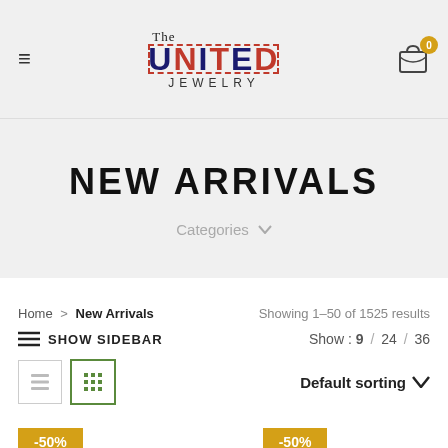The United Jewelry — hamburger menu, cart icon with badge 0
NEW ARRIVALS
Categories
Home > New Arrivals    Showing 1–50 of 1525 results
≡ SHOW SIDEBAR    Show : 9 / 24 / 36
Default sorting
-50%  -50%